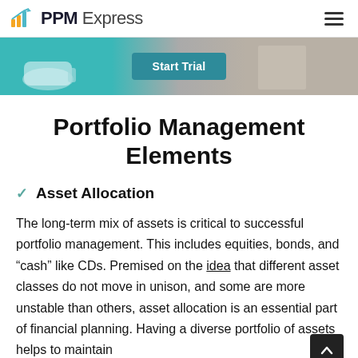PPM Express
[Figure (screenshot): Banner image with teal background on left showing a coffee cup, a 'Start Trial' button in the center, and a person image on the right]
Portfolio Management Elements
Asset Allocation
The long-term mix of assets is critical to successful portfolio management. This includes equities, bonds, and “cash” like CDs. Premised on the idea that different asset classes do not move in unison, and some are more unstable than others, asset allocation is an essential part of financial planning. Having a diverse portfolio of assets helps to maintain